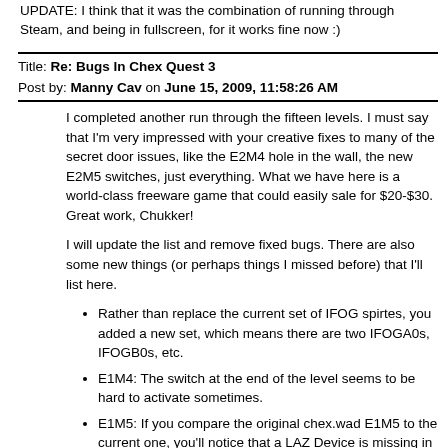UPDATE: I think that it was the combination of running through Steam, and being in fullscreen, for it works fine now :)
Title: Re: Bugs In Chex Quest 3
Post by: Manny Cav on June 15, 2009, 11:58:26 AM
I completed another run through the fifteen levels. I must say that I'm very impressed with your creative fixes to many of the secret door issues, like the E2M4 hole in the wall, the new E2M5 switches, just everything. What we have here is a world-class freeware game that could easily sale for $20-$30. Great work, Chukker!
I will update the list and remove fixed bugs. There are also some new things (or perhaps things I missed before) that I'll list here.
Rather than replace the current set of IFOG spirtes, you added a new set, which means there are two IFOGA0s, IFOGB0s, etc.
E1M4: The switch at the end of the level seems to be hard to activate sometimes.
E1M5: If you compare the original chex.wad E1M5 to the current one, you'll notice that a LAZ Device is missing in the hidden slime area near the Flembrane. It currently contains four BWAs and a Super Chex Armor.
E2M1: The elevator near the beginning of the level that leads to the region with the red key exhibits unusual behavior. You can't use it from the bottom area, but you